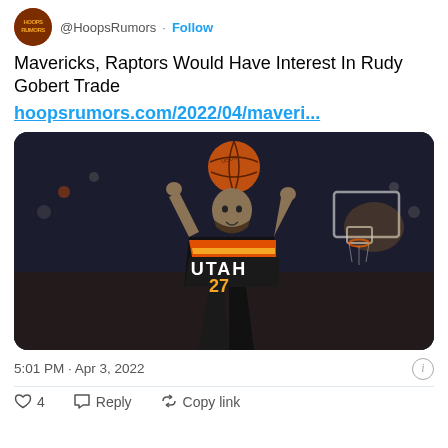@HoopsRumors · Follow
Mavericks, Raptors Would Have Interest In Rudy Gobert Trade hoopsrumors.com/2022/04/maveri...
[Figure (photo): Basketball player wearing Utah Jazz #27 jersey shooting a basketball]
5:01 PM · Apr 3, 2022
4  Reply  Copy link